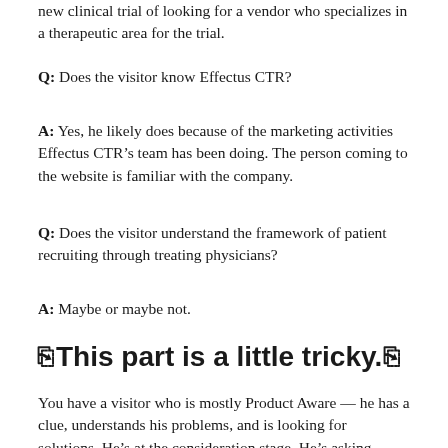new clinical trial of looking for a vendor who specializes in a therapeutic area for the trial.
Q: Does the visitor know Effectus CTR?
A: Yes, he likely does because of the marketing activities Effectus CTR’s team has been doing. The person coming to the website is familiar with the company.
Q: Does the visitor understand the framework of patient recruiting through treating physicians?
A: Maybe or maybe not.
⎘This part is a little tricky.⎘
You have a visitor who is mostly Product Aware — he has a clue, understands his problems, and is looking for solutions. He’s at the consideration stage. He’s asking,